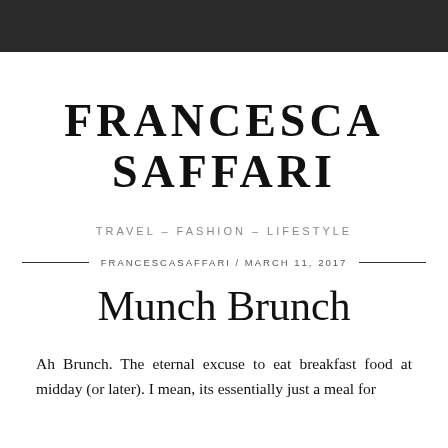FRANCESCA SAFFARI
FRANCESCA SAFFARI
TRAVEL – FASHION – LIFESTYLE
FRANCESCASAFFARI / MARCH 11, 2017
Munch Brunch
Ah Brunch. The eternal excuse to eat breakfast food at midday (or later). I mean, its essentially just a meal for